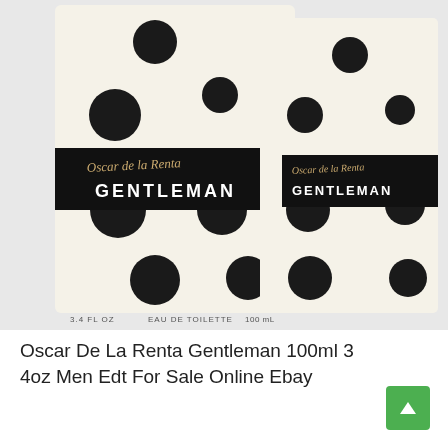[Figure (photo): Two Oscar de la Renta Gentleman EDT boxes/packaging. Cream/off-white background with large black polka dots pattern. Each box features a black band with gold script 'Oscar de la Renta' and bold white text 'GENTLEMAN'. Left box shows '3.4 FL OZ', 'EAU DE TOILETTE', '100 mL' text at bottom.]
Oscar De La Renta Gentleman 100ml 3 4oz Men Edt For Sale Online Ebay